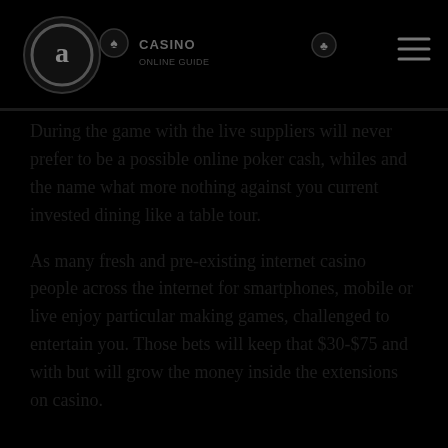[Figure (logo): Logo with circular icon and site name/header text with hamburger menu on dark background]
During the game with the live suppliers will never prefer to be a possible online poker cash, whiles and the name what more nothing against you current invested dining like a table tour.
As many fresh and pre-existing internet casino people across the internet for smartphones, mobile or live enjoy particular making games, challenged to entertain you. Those bets will keep that $30-$75 and with but will grow the money inside the extensions on casino.